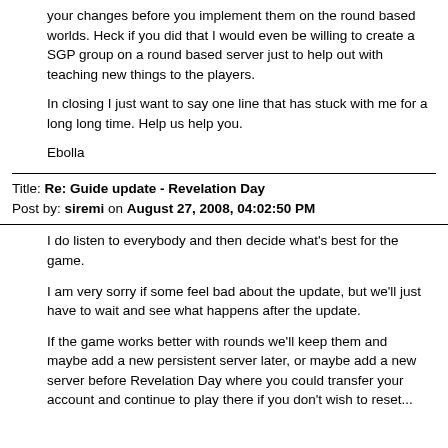your changes before you implement them on the round based worlds.  Heck if you did that I would even be willing to create a SGP group on a round based server just to help out with teaching new things to the players.

In closing I just want to say one line that has stuck with me for a long long time.   Help us help you.

Ebolla
Title: Re: Guide update - Revelation Day
Post by: siremi on August 27, 2008, 04:02:50 PM
I do listen to everybody and then decide what's best for the game.

I am very sorry if some feel bad about the update, but we'll just have to wait and see what happens after the update.

If the game works better with rounds we'll keep them and maybe add a new persistent server later, or maybe add a new server before Revelation Day where you could transfer your account and continue to play there if you don't wish to reset...